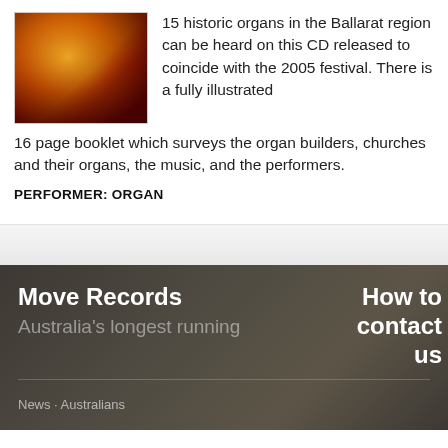[Figure (photo): CD cover image showing warm orange and red tones, appears to be a historic/classical music album cover]
15 historic organs in the Ballarat region can be heard on this CD released to coincide with the 2005 festival. There is a fully illustrated 16 page booklet which surveys the organ builders, churches and their organs, the music, and the performers.
PERFORMER: ORGAN
Move Records
Australia's longest running
How to contact us
News · Australians